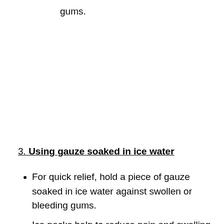gums.
3. Using gauze soaked in ice water
For quick relief, hold a piece of gauze soaked in ice water against swollen or bleeding gums.
Ice packs help to reduce pain and swelling